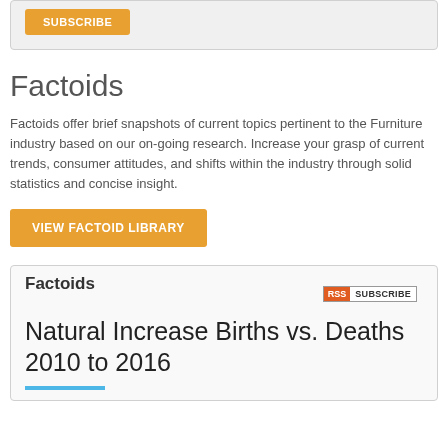[Figure (other): Gray box with orange SUBSCRIBE button]
Factoids
Factoids offer brief snapshots of current topics pertinent to the Furniture industry based on our on-going research. Increase your grasp of current trends, consumer attitudes, and shifts within the industry through solid statistics and concise insight.
VIEW FACTOID LIBRARY
[Figure (other): RSS SUBSCRIBE badge]
Factoids
Natural Increase Births vs. Deaths 2010 to 2016
[Figure (other): Blue horizontal bar decoration]